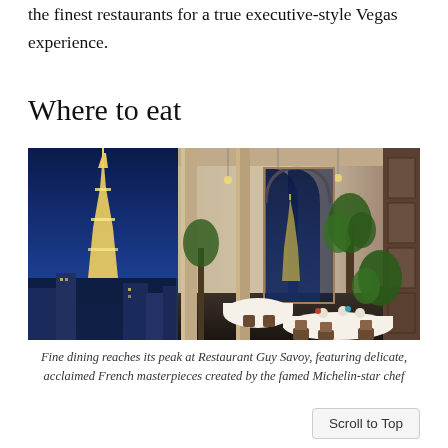the finest restaurants for a true executive-style Vegas experience.
Where to eat
[Figure (photo): Interior of Restaurant Guy Savoy with view of illuminated Eiffel Tower replica through large windows at night, elegant dining room with white tablecloths, arched windows, tall plants, and modern décor]
Fine dining reaches its peak at Restaurant Guy Savoy, featuring delicate, acclaimed French masterpieces created by the famed Michelin-star chef
Scroll to Top